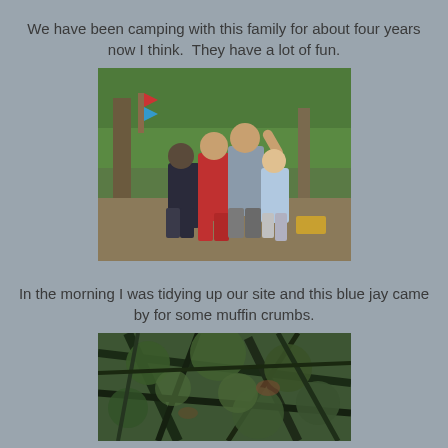We have been camping with this family for about four years now I think.  They have a lot of fun.
[Figure (photo): Four children posing and smiling outdoors at a campsite. They are standing on a gravel/dirt area with trees in the background. One child has their arm raised. A yellow cornhole board is visible in the background.]
In the morning I was tidying up our site and this blue jay came by for some muffin crumbs.
[Figure (photo): Close-up photo of dense green tree branches, likely pine or fir trees, taken at a campsite. A blue jay bird is presumably somewhere in the branches.]